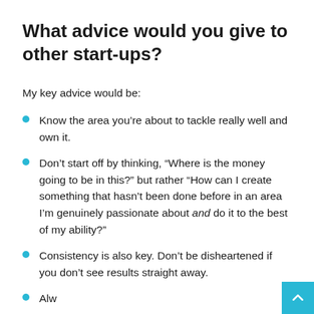What advice would you give to other start-ups?
My key advice would be:
Know the area you’re about to tackle really well and own it.
Don’t start off by thinking, “Where is the money going to be in this?” but rather “How can I create something that hasn’t been done before in an area I’m genuinely passionate about and do it to the best of my ability?”
Consistency is also key. Don’t be disheartened if you don’t see results straight away.
Always...